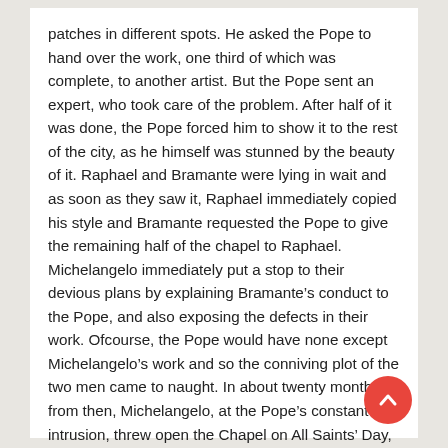patches in different spots. He asked the Pope to hand over the work, one third of which was complete, to another artist. But the Pope sent an expert, who took care of the problem. After half of it was done, the Pope forced him to show it to the rest of the city, as he himself was stunned by the beauty of it. Raphael and Bramante were lying in wait and as soon as they saw it, Raphael immediately copied his style and Bramante requested the Pope to give the remaining half of the chapel to Raphael. Michelangelo immediately put a stop to their devious plans by explaining Bramante's conduct to the Pope, and also exposing the defects in their work. Ofcourse, the Pope would have none except Michelangelo's work and so the conniving plot of the two men came to naught. In about twenty months from then, Michelangelo, at the Pope's constant intrusion, threw open the Chapel on All Saints' Day, November 1, 1512 for the world to behold.